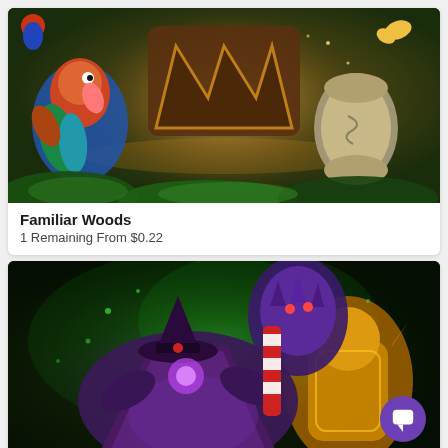[Figure (illustration): Dota 2 'Familiar Woods' themed illustration showing the wooden Dota 2 logo surrounded by cartoon fantasy creatures including a colorful animal on the left and a rolled-up creature on the right, with green foliage and glowing golden light]
Familiar Woods
1 Remaining From $0.22
[Figure (illustration): Dota 2 hero illustration showing a large purple-robed character with a hat in the foreground and a golden armored character to the right, surrounded by green mystical energy effects]